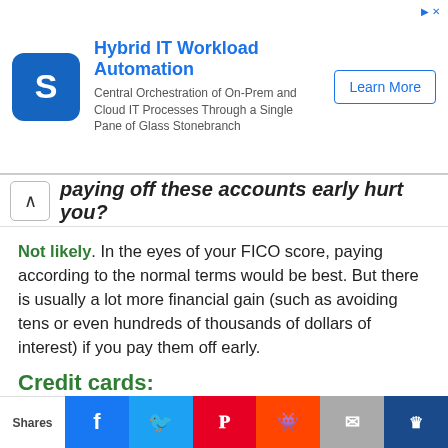[Figure (other): Advertisement banner for Hybrid IT Workload Automation by Stonebranch with logo, text description, and Learn More button]
paying off these accounts early hurt you?
Not likely. In the eyes of your FICO score, paying according to the normal terms would be best. But there is usually a lot more financial gain (such as avoiding tens or even hundreds of thousands of dollars of interest) if you pay them off early.
Credit cards:
This website uses cookies to improve your experience. We'll assume you're ok with this, but you can opt-out if you wish.
Cookie settings   ACCEPT